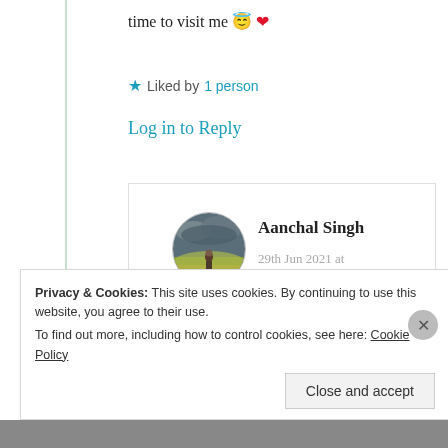time to visit me 😇 ❤️
★ Liked by 1 person
Log in to Reply
Aanchal Singh
29th Jun 2021 at 7:09 am
[Figure (photo): Circular avatar photo of Aanchal Singh showing a person in a yellow field under a dramatic sky]
Privacy & Cookies: This site uses cookies. By continuing to use this website, you agree to their use. To find out more, including how to control cookies, see here: Cookie Policy
Close and accept